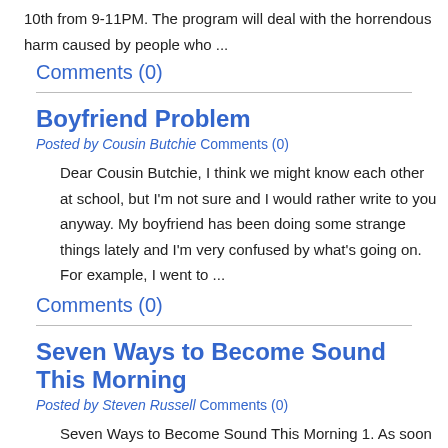10th from 9-11PM. The program will deal with the horrendous harm caused by people who ...
Comments (0)
Boyfriend Problem
Posted by Cousin Butchie Comments (0)
Dear Cousin Butchie, I think we might know each other at school, but I'm not sure and I would rather write to you anyway. My boyfriend has been doing some strange things lately and I'm very confused by what's going on. For example, I went to ...
Comments (0)
Seven Ways to Become Sound This Morning
Posted by Steven Russell Comments (0)
Seven Ways to Become Sound This Morning 1. As soon as you get up, take a deep breath. Inhale and let your belly expand, then your chest. Exhale and draw your belly in. You can also do this anytime throughout the day. Set an alarm on your phone to ...